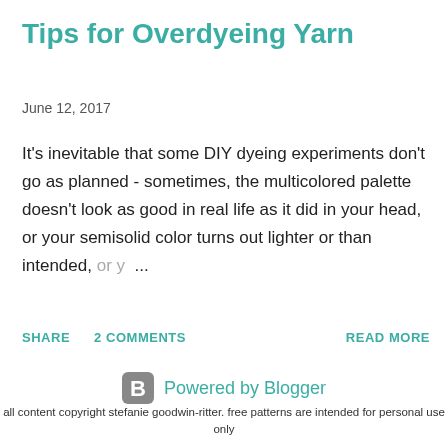Tips for Overdyeing Yarn
June 12, 2017
It's inevitable that some DIY dyeing experiments don't go as planned - sometimes, the multicolored palette doesn't look as good in real life as it did in your head, or your semisolid color turns out lighter or than intended, or y...
SHARE   2 COMMENTS   READ MORE
[Figure (logo): Blogger logo icon with 'Powered by Blogger' text]
all content copyright stefanie goodwin-ritter. free patterns are intended for personal use only